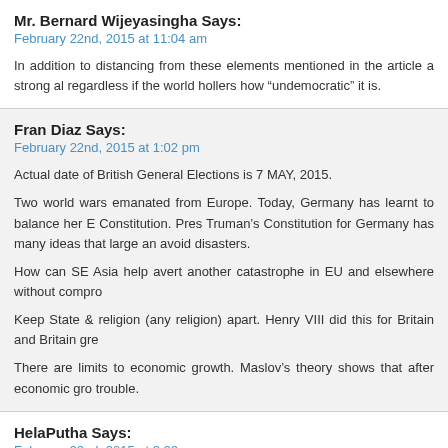Mr. Bernard Wijeyasingha Says:
February 22nd, 2015 at 11:04 am
In addition to distancing from these elements mentioned in the article a strong al regardless if the world hollers how “undemocratic” it is.
Fran Diaz Says:
February 22nd, 2015 at 1:02 pm
Actual date of British General Elections is 7 MAY, 2015.
Two world wars emanated from Europe. Today, Germany has learnt to balance her E Constitution. Pres Truman's Constitution for Germany has many ideas that large an avoid disasters.
How can SE Asia help avert another catastrophe in EU and elsewhere without compro
Keep State & religion (any religion) apart. Henry VIII did this for Britain and Britain gre
There are limits to economic growth. Maslov’s theory shows that after economic gro trouble.
HelaPutha Says:
February 22nd, 2015 at 2:28 pm
MR must ask his SLFP supporters to press for the no confidence motion and stop Ran